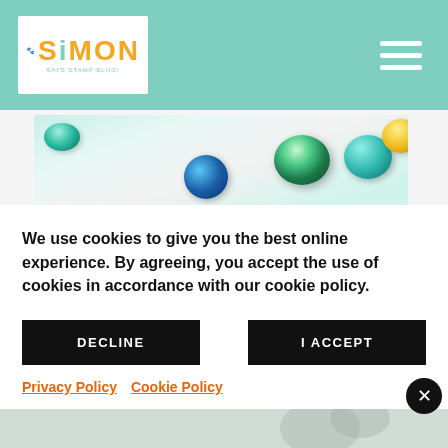Simon Says Stamp Blog
[Figure (photo): Close-up photo of colorful gemstone rhinestones on a light background — blue, teal, green, and yellow faceted gems]
[Figure (photo): Pink and magenta craft background with white swirl decorative elements]
We use cookies to give you the best online experience. By agreeing, you accept the use of cookies in accordance with our cookie policy.
DECLINE
I ACCEPT
Privacy Policy  Cookie Policy
[Figure (photo): Partial photo at bottom of page showing craft supplies]